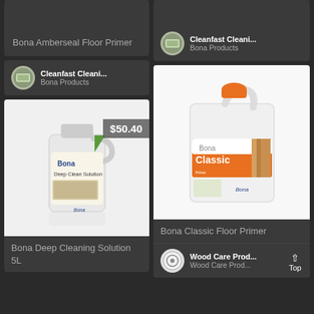Bona Amberseal Floor Primer
Cleanfast Cleani... Bona Products
Cleanfast Cleani... Bona Products
[Figure (photo): Bona Deep Clean Solution 5L bottle with price badge $50.40]
Bona Deep Cleaning Solution 5L
[Figure (photo): Bona Classic Floor Primer large container]
Bona Classic Floor Primer
Wood Care Prod... Wood Care Prod...